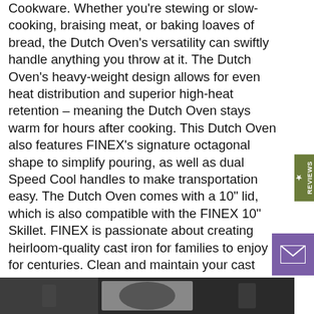Cookware. Whether you're stewing or slow-cooking, braising meat, or baking loaves of bread, the Dutch Oven's versatility can swiftly handle anything you throw at it. The Dutch Oven's heavy-weight design allows for even heat distribution and superior high-heat retention – meaning the Dutch Oven stays warm for hours after cooking. This Dutch Oven also features FINEX's signature octagonal shape to simplify pouring, as well as dual Speed Cool handles to make transportation easy. The Dutch Oven comes with a 10" lid, which is also compatible with the FINEX 10" Skillet. FINEX is passionate about creating heirloom-quality cast iron for families to enjoy for centuries. Clean and maintain your cast iron with the FINEX Cast Iron Cleaning Care Kit. FINEX item number DL5-10001.
[Figure (photo): Bottom portion of a product photo showing cast iron cookware on dark background]